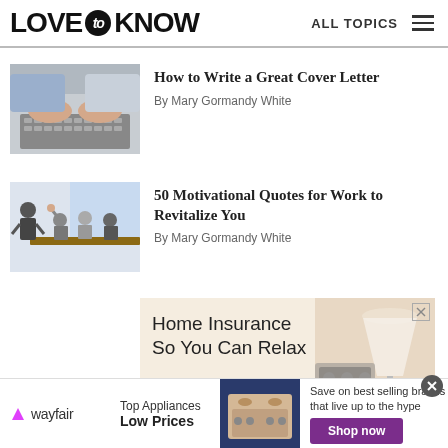LOVE to KNOW   ALL TOPICS
[Figure (photo): Hands typing on a laptop keyboard, close-up shot]
How to Write a Great Cover Letter
By Mary Gormandy White
[Figure (photo): Group of people in a meeting room, one person standing and presenting]
50 Motivational Quotes for Work to Revitalize You
By Mary Gormandy White
[Figure (illustration): Home Insurance advertisement with text 'Home Insurance So You Can Relax' and an image of a lamp and kitchen stove]
[Figure (illustration): Wayfair advertisement: Top Appliances Low Prices, Save on best selling brands that live up to the hype, Shop now button]